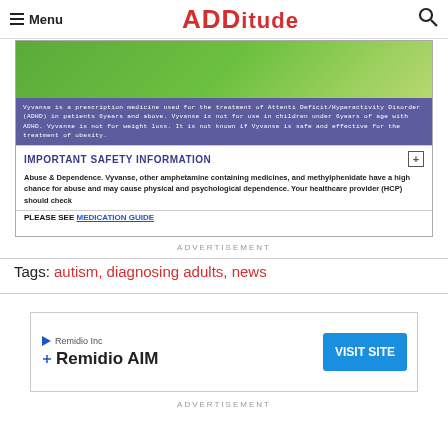Menu | ADDitude
[Figure (screenshot): Vyvanse prescription medicine advertisement with green image area, purple disclaimer text, Important Safety Information section, Abuse & Dependence warning, and PLEASE SEE MEDICATION GUIDE link.]
ADVERTISEMENT
Tags: autism, diagnosing adults, news
[Figure (screenshot): Remidio Inc / Remidio AIM advertisement with VISIT SITE button]
ADVERTISEMENT